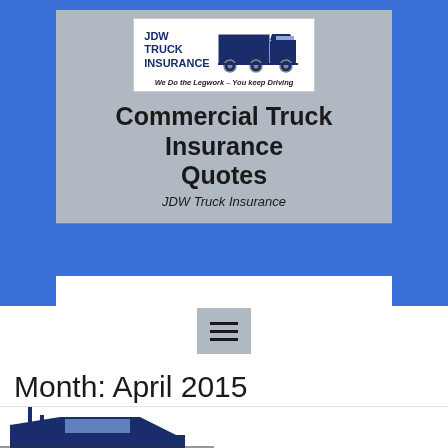[Figure (logo): JDW Truck Insurance logo with blue semi-truck silhouette and text 'JDW TRUCK INSURANCE' and tagline 'We Do the Legwork - You keep Driving']
Commercial Truck Insurance Quotes
JDW Truck Insurance
[Figure (other): Navigation menu hamburger icon button]
Month: April 2015
[Figure (illustration): Blue silhouette of a semi-truck / 18-wheeler, partial view showing cab and front section]